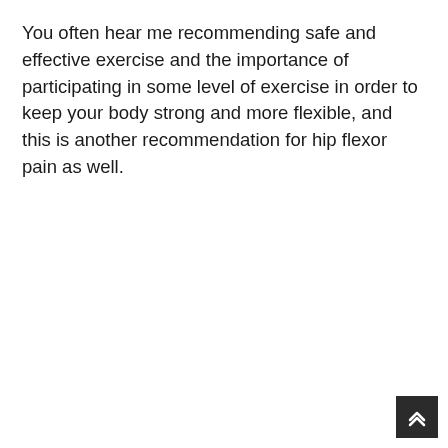You often hear me recommending safe and effective exercise and the importance of participating in some level of exercise in order to keep your body strong and more flexible, and this is another recommendation for hip flexor pain as well.